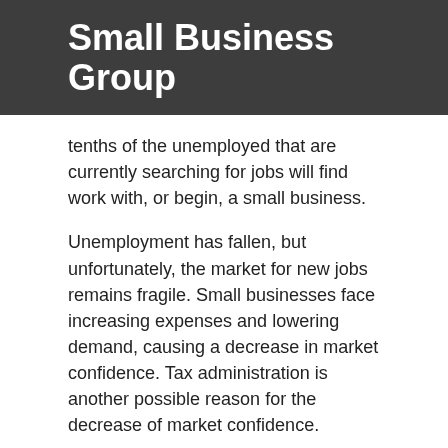Small Business Group
tenths of the unemployed that are currently searching for jobs will find work with, or begin, a small business.
Unemployment has fallen, but unfortunately, the market for new jobs remains fragile. Small businesses face increasing expenses and lowering demand, causing a decrease in market confidence. Tax administration is another possible reason for the decrease of market confidence.
Over half of FSB members have reported that tax administration is difficult. A real-time tax system, a tax system requiring businesses to report employee and wage information twelve times per year, would be a hassle for small businesses, according to the belief of the FSB. Furthermore, such a system would force small businesses to provide pensions to their employees starting in 2015. This contradicts tax simplification rhetoric from the Government.
Small and medium businesses are paramount for creating